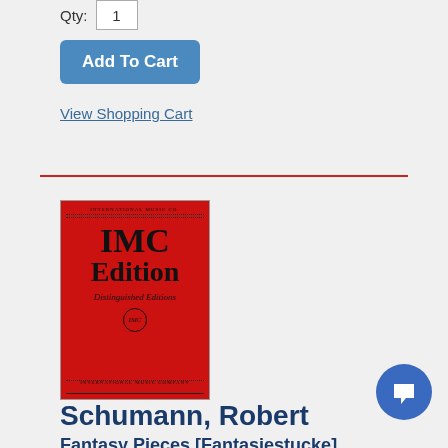Qty: 1
Add To Cart
View Shopping Cart
[Figure (illustration): Red IMC Edition book cover. Top reads 'INTERNATIONAL MUSIC CO.' followed by a dotted border. Large bold text 'IMC Edition', below it italicized 'Distinguished Editions', a circular IMC logo, then 'INTERNATIONAL MUSIC COMPANY' near bottom with dotted borders.]
[Figure (logo): Blue circular chat/bookmark icon in lower right corner]
Schumann, Robert
Fantasy Pieces [Fantasiestucke]